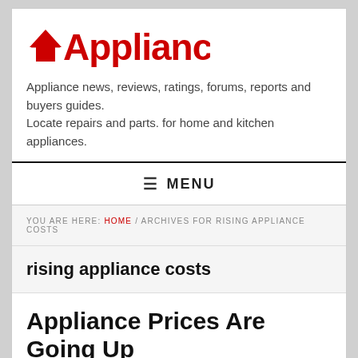[Figure (logo): Appliance.net logo with red house icon forming the letter A, text reads Appliance.net]
Appliance news, reviews, ratings, forums, reports and buyers guides.
Locate repairs and parts. for home and kitchen appliances.
≡ MENU
YOU ARE HERE: HOME / ARCHIVES FOR RISING APPLIANCE COSTS
rising appliance costs
Appliance Prices Are Going Up